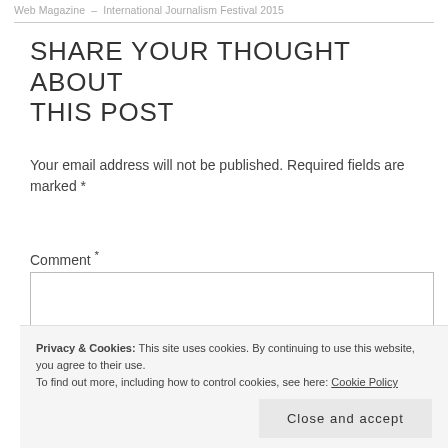Web Magazine – International Journalism Festival 2015
SHARE YOUR THOUGHT ABOUT THIS POST
Your email address will not be published. Required fields are marked *
Comment *
Privacy & Cookies: This site uses cookies. By continuing to use this website, you agree to their use. To find out more, including how to control cookies, see here: Cookie Policy
Close and accept